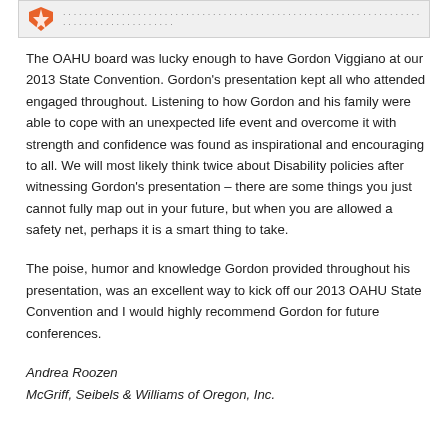[Figure (other): Top banner with orange shield/logo icon and faint text, light gray background]
The OAHU board was lucky enough to have Gordon Viggiano at our 2013 State Convention. Gordon's presentation kept all who attended engaged throughout. Listening to how Gordon and his family were able to cope with an unexpected life event and overcome it with strength and confidence was found as inspirational and encouraging to all. We will most likely think twice about Disability policies after witnessing Gordon's presentation – there are some things you just cannot fully map out in your future, but when you are allowed a safety net, perhaps it is a smart thing to take.
The poise, humor and knowledge Gordon provided throughout his presentation, was an excellent way to kick off our 2013 OAHU State Convention and I would highly recommend Gordon for future conferences.
Andrea Roozen
McGriff, Seibels & Williams of Oregon, Inc.